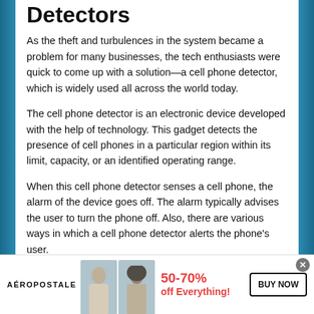Detectors
As the theft and turbulences in the system became a problem for many businesses, the tech enthusiasts were quick to come up with a solution—a cell phone detector, which is widely used all across the world today.
The cell phone detector is an electronic device developed with the help of technology. This gadget detects the presence of cell phones in a particular region within its limit, capacity, or an identified operating range.
When this cell phone detector senses a cell phone, the alarm of the device goes off. The alarm typically advises the user to turn the phone off. Also, there are various ways in which a cell phone detector alerts the phone’s user.
[Figure (infographic): Advertisement banner for Aéropostale showing two female models, text '50-70% off Everything!' in red, 'BUY NOW' button, and brand name 'AÉROPOSTALE']